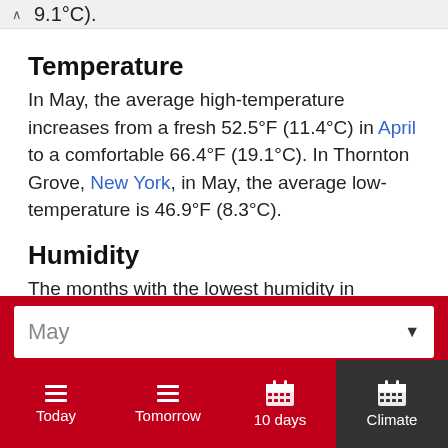9.1°C).
Temperature
In May, the average high-temperature increases from a fresh 52.5°F (11.4°C) in April to a comfortable 66.4°F (19.1°C). In Thornton Grove, New York, in May, the average low-temperature is 46.9°F (8.3°C).
Humidity
The months with the lowest humidity in Thornton Grove are April and May, with an average relative
May
Today | Tomorrow | 10 days | Climate